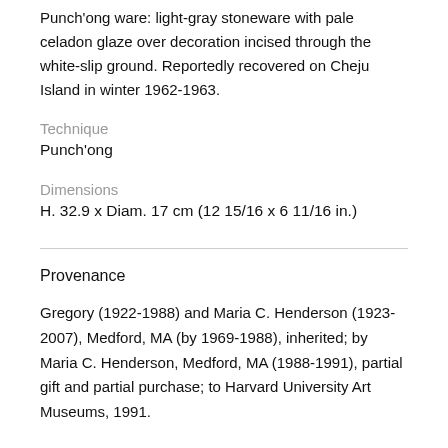Punch'ong ware: light-gray stoneware with pale celadon glaze over decoration incised through the white-slip ground. Reportedly recovered on Cheju Island in winter 1962-1963.
Technique
Punch'ong
Dimensions
H. 32.9 x Diam. 17 cm (12 15/16 x 6 11/16 in.)
Provenance
Gregory (1922-1988) and Maria C. Henderson (1923-2007), Medford, MA (by 1969-1988), inherited; by Maria C. Henderson, Medford, MA (1988-1991), partial gift and partial purchase; to Harvard University Art Museums, 1991.